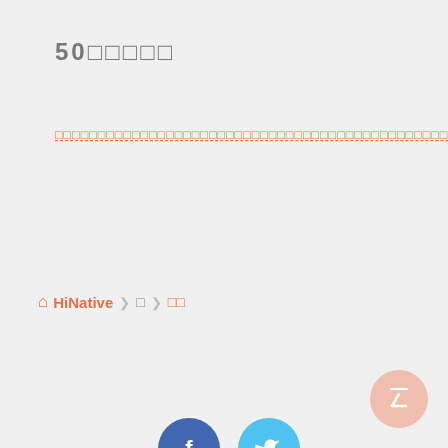50□□□□□
□□□□□□□□□□□□□□□□□□□□□□□□□□□□□□□□□□□□□□□□□□□□□□□□□□□□□□□□□□□□□□□□□□□□□□□□□□□□□□□□□□□□□□□□□□□□□□□□□
🏠 HiNative ＞ □ ＞ □□
[Figure (other): Facebook and Twitter social share buttons (circular icons)]
□□□□□  □□□  ∨
□□□
□□□□□□□□□□□
□□□□□